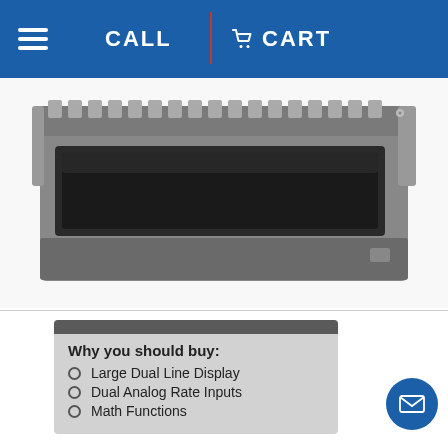CALL  CART
[Figure (photo): Photo of the PD8-6262 ProtEX-MAX explosion-proof dual analog input flow rate/totalizer device, a dark grey rectangular industrial instrument]
Why you should buy:
Large Dual Line Display
Dual Analog Rate Inputs
Math Functions
PD8-6262 ProtEX-MAX Explosion-Proof Dual Analog Input Flow Rate/Totalizer
The ProtEX-MAX PD8-6262 offers all the functionality of the ProVu PD6262 as a fully FM, CSA, ATEX, and IECEx approved explosion-proof product. It is specifically designed to display flow rate and total from two (2) analog output (4-20 mA, 1-5 V, etc.) flowmeters. It displays these signals on a dual-line, 6-digit Super-bright sunlight readable display. The two display lines can be used to show both flow rates simultaneously, to alternate between the two inputs showing both the flow